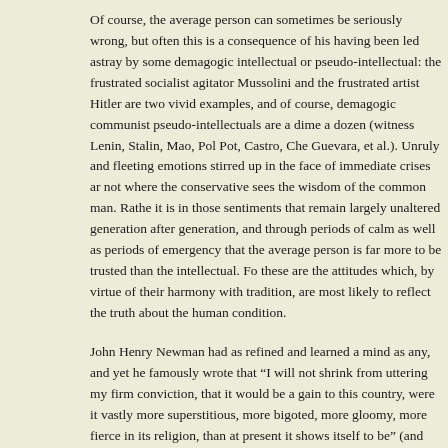Of course, the average person can sometimes be seriously wrong, but often this is a consequence of his having been led astray by some demagogic intellectual or pseudo-intellectual: the frustrated socialist agitator Mussolini and the frustrated artist Hitler are two vivid examples, and of course, demagogic communist pseudo-intellectuals are a dime a dozen (witness Lenin, Stalin, Mao, Pol Pot, Castro, Che Guevara, et al.). Unruly and fleeting emotions stirred up in the face of immediate crises are not where the conservative sees the wisdom of the common man. Rather, it is in those sentiments that remain largely unaltered generation after generation, and through periods of calm as well as periods of emergency, that the average person is far more to be trusted than the intellectual. For these are the attitudes which, by virtue of their harmony with tradition, are most likely to reflect the truth about the human condition.
John Henry Newman had as refined and learned a mind as any, and yet he famously wrote that “I will not shrink from uttering my firm conviction, that it would be a gain to this country, were it vastly more superstitious, more bigoted, more gloomy, more fierce in its religion, than at present it shows itself to be” (and this during the Victorian era, long before our flaccid therapeutic age). Part of what he meant is that the serious fervor and devotion that serious religion has always demanded of the believer if he is to be saved is hard to maintain when one is constantly worried that he might offend the sensibilities of others who believe differently, or if religion is watered down into a thin humanistic social justice ethic that